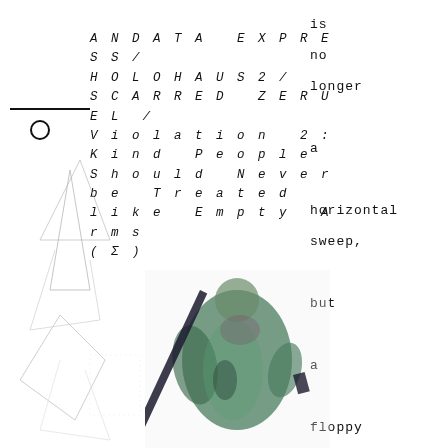ANDATA EXPRESS/ HOLOHAUS2/ SCARRED ZERUEL / Violation 2: Kind People Should Never be Treated like Empty Arms (Σ)
is no longer a horizontal sweep, but a floppy angled awkward cut
[Figure (illustration): Geometric line drawing with triangular and angular shapes on the left side of the page]
[Figure (photo): A figure dressed in green robes or clothing, holding what appears to be a dark blade or sword, photographed against white background]